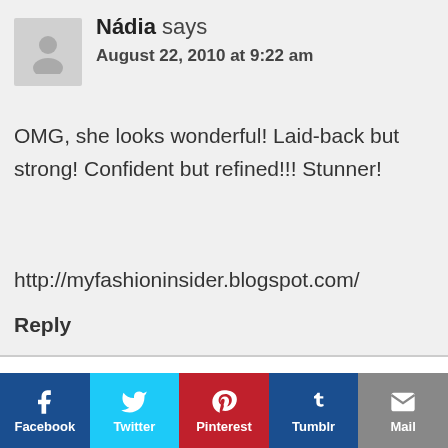[Figure (illustration): Gray avatar/placeholder user icon with person silhouette]
Nádia says
August 22, 2010 at 9:22 am
OMG, she looks wonderful! Laid-back but strong! Confident but refined!!! Stunner!
http://myfashioninsider.blogspot.com/
Reply
[Figure (infographic): Social share buttons row: Facebook (dark blue), Twitter (cyan), Pinterest (red), Tumblr (dark blue), Mail (gray)]